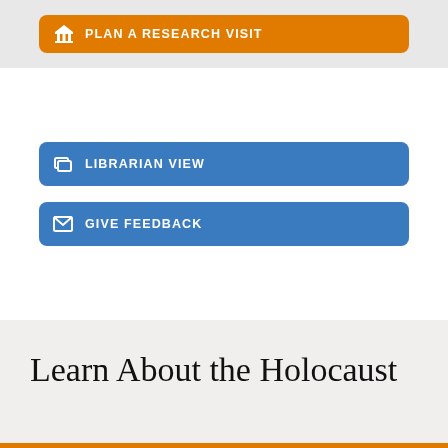[Figure (screenshot): Orange button with museum icon labeled PLAN A RESEARCH VISIT]
[Figure (screenshot): Blue button with librarian/copy icon labeled LIBRARIAN VIEW]
[Figure (screenshot): Blue button with envelope icon labeled GIVE FEEDBACK]
Learn About the Holocaust